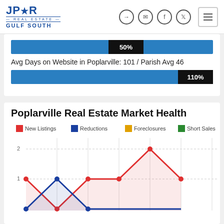JPR Real Estate Gulf South
[Figure (infographic): Horizontal bar showing 50% value]
Avg Days on Website in Poplarville: 101 / Parish Avg 46
[Figure (infographic): Horizontal bar showing 110% value]
Poplarville Real Estate Market Health
[Figure (line-chart): Poplarville Real Estate Market Health]